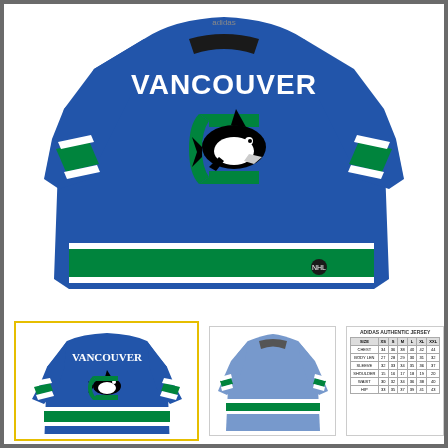[Figure (photo): Vancouver Canucks blue NHL hockey jersey (Adidas Authentic) with orca killer whale logo on the front chest, 'VANCOUVER' arched text across the top, green and white striping on arms and hem. Full front-facing product shot on white background.]
[Figure (photo): Thumbnail 1 (selected, gold border): Same Vancouver Canucks blue jersey, smaller view showing front with orca logo and green/white stripes.]
[Figure (photo): Thumbnail 2: Light blue/grey blank Adidas jersey template without logo, showing the same cut but undecorated.]
[Figure (table-as-image): Thumbnail 3: Size chart table showing ADIDAS AUTHENTIC JERSEY sizing with columns for size, chest, body length, and sleeve length measurements.]